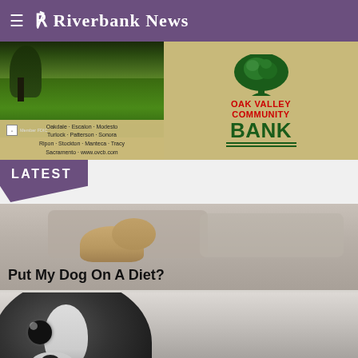R Riverbank News
[Figure (photo): Oak Valley Community Bank advertisement showing a scenic meadow/tree photo on the left with city locations listed, and the Oak Valley Community Bank logo with tree graphic on the right on a tan/gold background]
LATEST
[Figure (photo): Article thumbnail showing a dog resting on a couch/pillow, with article title overlay 'Put My Dog On A Diet?']
Put My Dog On A Diet?
[Figure (photo): Article thumbnail showing a black and white dog (Boston Terrier or similar) looking at camera, with article title overlay 'Why Use A Dog Clicker?']
Why Use A Dog Clicker?